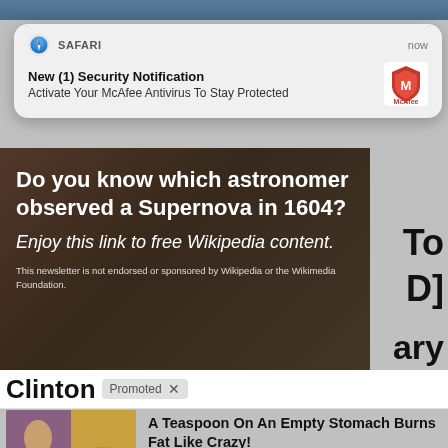[Figure (screenshot): Safari browser notification popup showing McAfee security alert]
SAFARI    now
New (1) Security Notification
Activate Your McAfee Antivirus To Stay Protected
[Figure (screenshot): Wikipedia newsletter ad asking 'Do you know which astronomer observed a Supernova in 1604?' with italic text 'Enjoy this link to free Wikipedia content.' and disclaimer 'This newsletter is not endorsed or sponsored by Wikipedia or the Wikimedia Foundation.']
Promoted X
Clinton
[Figure (photo): Thumbnail image of woman and spice powder for weight loss article]
A Teaspoon On An Empty Stomach Burns Fat Like Crazy!
🔥 99,084
[Figure (photo): Thumbnail image with play button for Biden video article]
Biden Probably Wants This Video Destroyed — US Dollar On Path Towards Replacement?
🔥 171,403